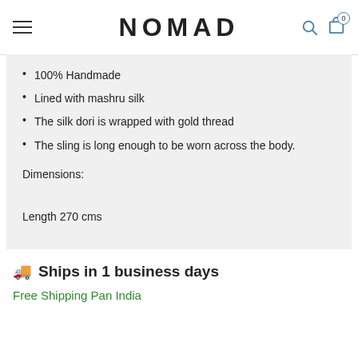NOMAD
100% Handmade
Lined with mashru silk
The silk dori is wrapped with gold thread
The sling is long enough to be worn across the body.
Dimensions:

Length 270 cms

Width 190 cms

Care Instructions:

Dry clean only
EXCHANGE POLICY
Ships in 1 business days
Free Shipping Pan India